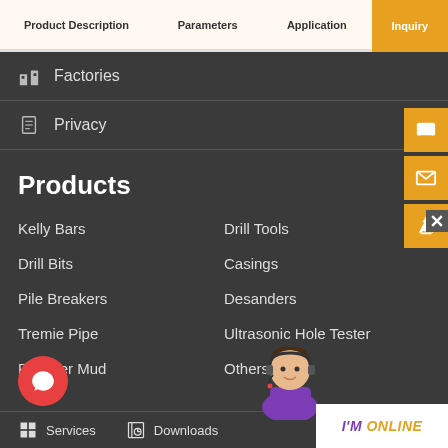Product Description | Parameters | Application | Inquiry
Factories
Privacy
Products
Kelly Bars
Drill Tools
Drill Bits
Casings
Pile Breakers
Desanders
Tremie Pipe
Ultrasonic Hole Tester
Polymer Mud
Others
Services
Downloads